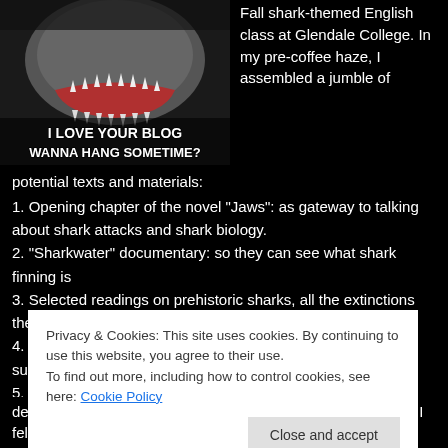[Figure (photo): Shark with open mouth meme image with text 'I LOVE YOUR BLOG WANNA HANG SOMETIME?']
Fall shark-themed English class at Glendale College. In my pre-coffee haze, I assembled a jumble of potential texts and materials:
1. Opening chapter of the novel "Jaws": as gateway to talking about shark attacks and shark biology.
2. "Sharkwater" documentary: so they can see what shark finning is
3. Selected readings on prehistoric sharks, all the extinctions they've survived
4. Info on the current extinction event that sharks might not survive
5. "Air Jaws" clips
6. "Jaws": The Movie
Privacy & Cookies: This site uses cookies. By continuing to use this website, you agree to their use. To find out more, including how to control cookies, see here: Cookie Policy
deeply tribal sense, we love our monsters." Love is the word. I fell in love with